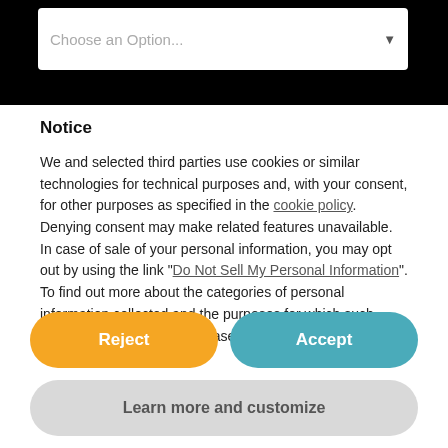Choose an Option...
Notice
We and selected third parties use cookies or similar technologies for technical purposes and, with your consent, for other purposes as specified in the cookie policy. Denying consent may make related features unavailable.
In case of sale of your personal information, you may opt out by using the link "Do Not Sell My Personal Information".
To find out more about the categories of personal information collected and the purposes for which such information will be used, please refer to our privacy policy.
Reject
Accept
Learn more and customize